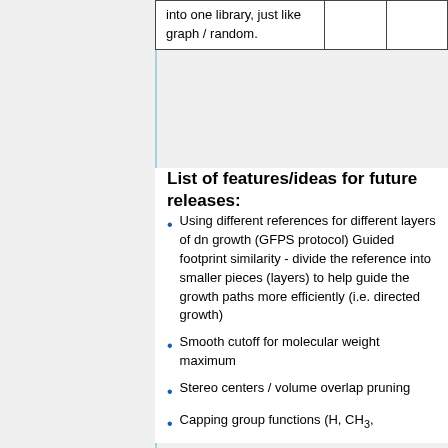| into one library, just like graph / random. |  |  |
List of features/ideas for future releases:
Using different references for different layers of dn growth (GFPS protocol) Guided footprint similarity - divide the reference into smaller pieces (layers) to help guide the growth paths more efficiently (i.e. directed growth)
Smooth cutoff for molecular weight maximum
Stereo centers / volume overlap pruning
Capping group functions (H, CH3,